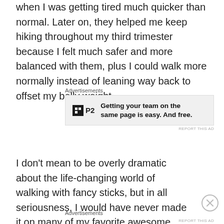when I was getting tired much quicker than normal. Later on, they helped me keep hiking throughout my third trimester because I felt much safer and more balanced with them, plus I could walk more normally instead of leaning way back to offset my belly weight.
[Figure (infographic): Advertisement banner for P2 with logo and text: Getting your team on the same page is easy. And free.]
I don't mean to be overly dramatic about the life-changing world of walking with fancy sticks, but in all seriousness, I would have never made it on many of my favorite awesome adventures without hiking poles.
[Figure (infographic): Second advertisement block with Advertisements label]